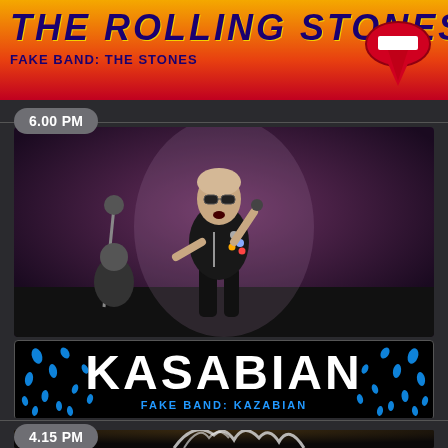[Figure (illustration): Rolling Stones style banner with gradient orange-red background, band name in large italic dark blue text, tongue/lips logo on right, subtitle 'FAKE BAND: THE STONES']
6.00 PM
[Figure (photo): Concert photo of a male singer performing on stage, wearing sunglasses and a black jacket, holding a microphone, dramatic stage lighting]
[Figure (logo): Kasabian band logo banner: black background with large white bold text 'KASABIAN', blue teardrop/confetti decorations on both sides, subtitle 'FAKE BAND: KAZABIAN' in blue]
4.15 PM
[Figure (photo): Partial concert photo at bottom showing a performer with wild white/blonde hair]